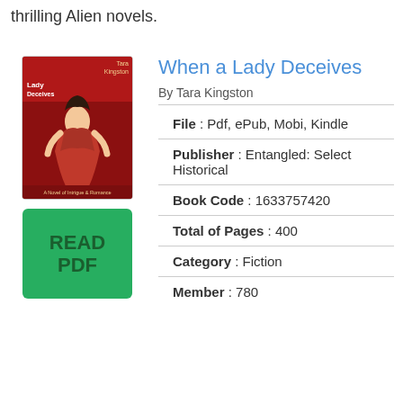thrilling Alien novels.
When a Lady Deceives
By Tara Kingston
[Figure (illustration): Book cover of 'When a Lady Deceives' by Tara Kingston showing a woman in a red dress]
[Figure (other): Green READ PDF button]
File : Pdf, ePub, Mobi, Kindle
Publisher : Entangled: Select Historical
Book Code : 1633757420
Total of Pages : 400
Category : Fiction
Member : 780